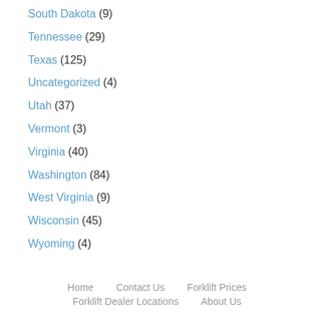South Dakota (9)
Tennessee (29)
Texas (125)
Uncategorized (4)
Utah (37)
Vermont (3)
Virginia (40)
Washington (84)
West Virginia (9)
Wisconsin (45)
Wyoming (4)
Home   Contact Us   Forklift Prices   Forklift Dealer Locations   About Us